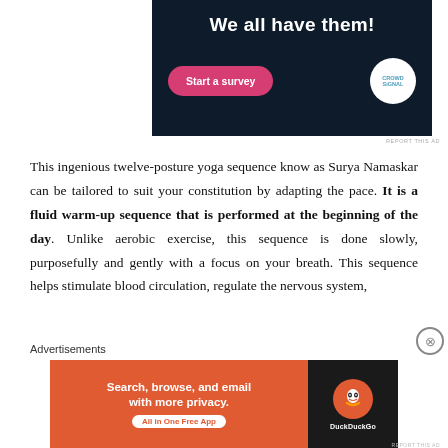[Figure (other): Advertisement banner with dark navy background showing 'We all have them!' text, a pink 'Start a survey' button, and Crowdsignal logo]
REPORT THIS AD
This ingenious twelve-posture yoga sequence know as Surya Namaskar can be tailored to suit your constitution by adapting the pace. It is a fluid warm-up sequence that is performed at the beginning of the day. Unlike aerobic exercise, this sequence is done slowly, purposefully and gently with a focus on your breath. This sequence helps stimulate blood circulation, regulate the nervous system,
Advertisements
[Figure (other): DuckDuckGo advertisement: orange background with 'Search, browse, and email with more privacy. All in One Free App' and DuckDuckGo logo on dark background]